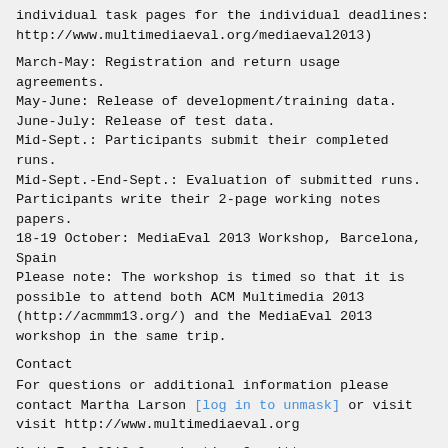individual task pages for the individual deadlines: http://www.multimediaeval.org/mediaeval2013)
March-May: Registration and return usage agreements.
May-June: Release of development/training data.
June-July: Release of test data.
Mid-Sept.: Participants submit their completed runs.
Mid-Sept.-End-Sept.: Evaluation of submitted runs. Participants write their 2-page working notes papers.
18-19 October: MediaEval 2013 Workshop, Barcelona, Spain
Please note: The workshop is timed so that it is possible to attend both ACM Multimedia 2013 (http://acmmm13.org/) and the MediaEval 2013 workshop in the same trip.
Contact
For questions or additional information please contact Martha Larson [log in to unmask] or visit visit http://www.multimediaeval.org
MediaEval 2013 Organization Committee:
Martha Larson at Delft University of Technology and Gareth Jones at Dublin City University act as the